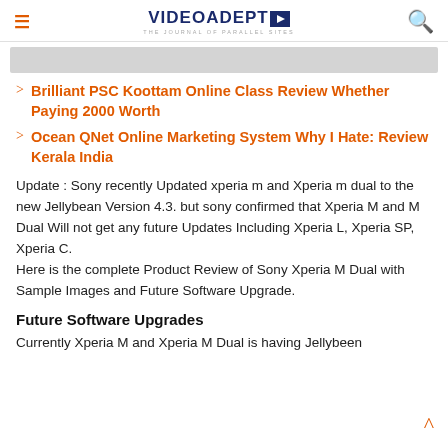VIDEOADEPT
[Figure (other): Gray advertisement banner]
Brilliant PSC Koottam Online Class Review Whether Paying 2000 Worth
Ocean QNet Online Marketing System Why I Hate: Review Kerala India
Update : Sony recently Updated xperia m and Xperia m dual to the new Jellybean Version 4.3. but sony confirmed that Xperia M and M Dual Will not get any future Updates Including Xperia L, Xperia SP, Xperia C.
Here is the complete Product Review of Sony Xperia M Dual with Sample Images and Future Software Upgrade.
Future Software Upgrades
Currently Xperia M and Xperia M Dual is having Jellybeen